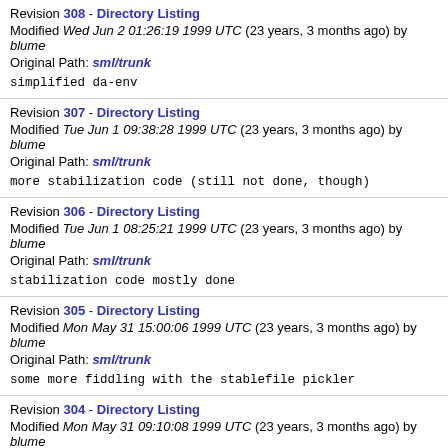Revision 308 - Directory Listing
Modified Wed Jun 2 01:26:19 1999 UTC (23 years, 3 months ago) by blume
Original Path: sml/trunk

simplified da-env
Revision 307 - Directory Listing
Modified Tue Jun 1 09:38:28 1999 UTC (23 years, 3 months ago) by blume
Original Path: sml/trunk

more stabilization code (still not done, though)
Revision 306 - Directory Listing
Modified Tue Jun 1 08:25:21 1999 UTC (23 years, 3 months ago) by blume
Original Path: sml/trunk

stabilization code mostly done
Revision 305 - Directory Listing
Modified Mon May 31 15:00:06 1999 UTC (23 years, 3 months ago) by blume
Original Path: sml/trunk

some more fiddling with the stablefile pickler
Revision 304 - Directory Listing
Modified Mon May 31 09:10:08 1999 UTC (23 years, 3 months ago) by blume
Original Path: sml/trunk

first steps towards stabilize (not finished yet)
Revision 303 - Directory Listing
Modified Sun May 30 10:23:20 1999 UTC (23 years, 3 months ago) by blume
Original Path: sml/trunk

dyn-tstamp eliminated; more fiddling with sharing (now checked